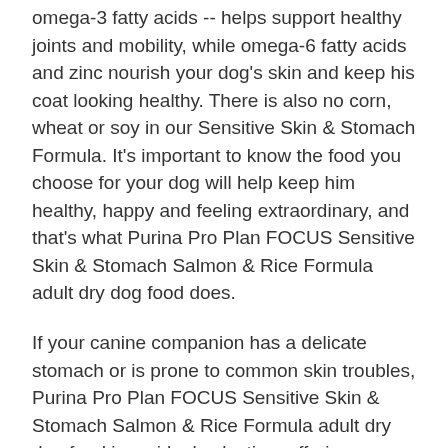omega-3 fatty acids -- helps support healthy joints and mobility, while omega-6 fatty acids and zinc nourish your dog's skin and keep his coat looking healthy. There is also no corn, wheat or soy in our Sensitive Skin & Stomach Formula. It's important to know the food you choose for your dog will help keep him healthy, happy and feeling extraordinary, and that's what Purina Pro Plan FOCUS Sensitive Skin & Stomach Salmon & Rice Formula adult dry dog food does.
If your canine companion has a delicate stomach or is prone to common skin troubles, Purina Pro Plan FOCUS Sensitive Skin & Stomach Salmon & Rice Formula adult dry dog food is an ideal selection, offering specialized nutrition for his unique needs. This formula, with nutrient-rich salmon as the first ingredient, ensures that each bite packs a powerfully tasty flavor backed by essential nutrition to help support your dog's skin and stomach, as well as his entire well-being. Salmon is used as a primary source of protein, and because it's rich in omega-3 fatty acids, it helps support your dog's joint health and mobility. We also add omega-6 fatty acids